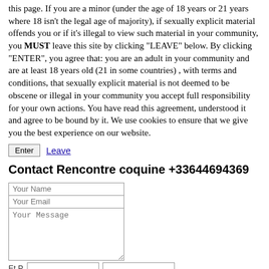this page. If you are a minor (under the age of 18 years or 21 years where 18 isn't the legal age of majority), if sexually explicit material offends you or if it's illegal to view such material in your community, you MUST leave this site by clicking "LEAVE" below. By clicking "ENTER", you agree that: you are an adult in your community and are at least 18 years old (21 in some countries) , with terms and conditions, that sexually explicit material is not deemed to be obscene or illegal in your community you accept full responsibility for your own actions. You have read this agreement, understood it and agree to be bound by it. We use cookies to ensure that we give you the best experience on our website.
Enter  Leave
Contact Rencontre coquine +33644694369
Your Name
Your Email
Your Message
Et P...